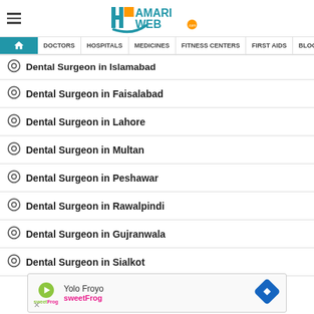HamariWeb
Dental Surgeon in Islamabad
Dental Surgeon in Faisalabad
Dental Surgeon in Lahore
Dental Surgeon in Multan
Dental Surgeon in Peshawar
Dental Surgeon in Rawalpindi
Dental Surgeon in Gujranwala
Dental Surgeon in Sialkot
[Figure (screenshot): Advertisement banner for Yolo Froyo by sweetFrog]